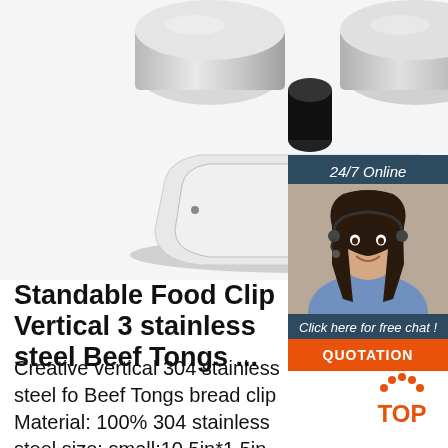[Figure (photo): Close-up photo of a stainless steel kitchen appliance base, white and silver finish, on white background]
[Figure (photo): 24/7 Online chat widget showing a smiling female customer service agent with headset, dark navy background, with 'Click here for free chat!' text and orange QUOTATION button]
Standable Food Clip Vertical 3 stainless steel Beef Tongs ...
Creative vertical 304 stainless steel fo Beef Tongs bread clip Material: 100% 304 stainless steel size: small:10.5in*1.5in weight: about 120g Product Features: 100% 304 stainless steel high quality material, anti-rust, easy to clean, durable for using; Exquisite
[Figure (logo): TOP badge with orange dots arranged in an arc above the word TOP in orange text]